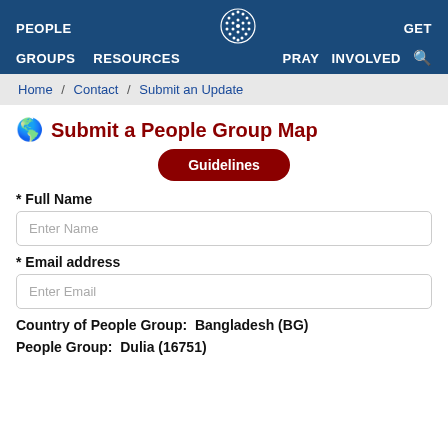PEOPLE  GROUPS  RESOURCES  GET  PRAY  INVOLVED
Home / Contact / Submit an Update
Submit a People Group Map
Guidelines
* Full Name
Enter Name
* Email address
Enter Email
Country of People Group:  Bangladesh (BG)
People Group:  Dulia (16751)